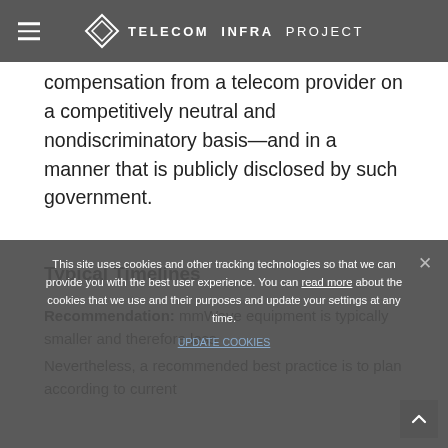TELECOM INFRA PROJECT
compensation from a telecom provider on a competitively neutral and nondiscriminatory basis—and in a manner that is publicly disclosed by such government.
Typical Timelines
Recommendation: mmWave equipment is typically smaller and therefore less
Nevertheless, a recommended best practice is to plan according to current
This site uses cookies and other tracking technologies so that we can provide you with the best user experience. You can read more about the cookies that we use and their purposes and update your settings at any time.